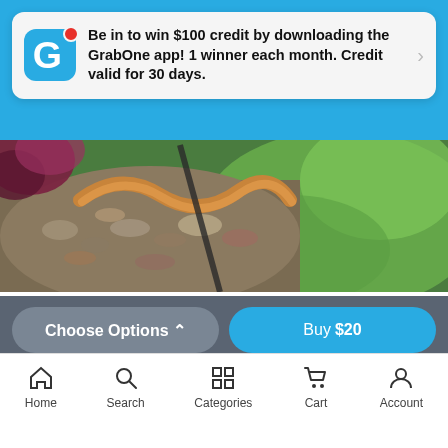Be in to win $100 credit by downloading the GrabOne app! 1 winner each month. Credit valid for 30 days.
[Figure (photo): Close-up photo of mini golf course with stones, gravel, snake-shaped decoration and green grass area]
18 Fun-Filled Holes of Mini Golf
Enchanted Forest Mini Golf
Onehunga
114 bought
from $9
$15
Choose Options ^
Buy $20
Home  Search  Categories  Cart  Account